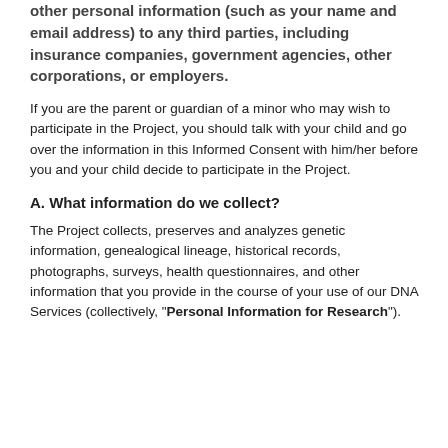other personal information (such as your name and email address) to any third parties, including insurance companies, government agencies, other corporations, or employers.
If you are the parent or guardian of a minor who may wish to participate in the Project, you should talk with your child and go over the information in this Informed Consent with him/her before you and your child decide to participate in the Project.
A. What information do we collect?
The Project collects, preserves and analyzes genetic information, genealogical lineage, historical records, photographs, surveys, health questionnaires, and other information that you provide in the course of your use of our DNA Services (collectively, "Personal Information for Research").